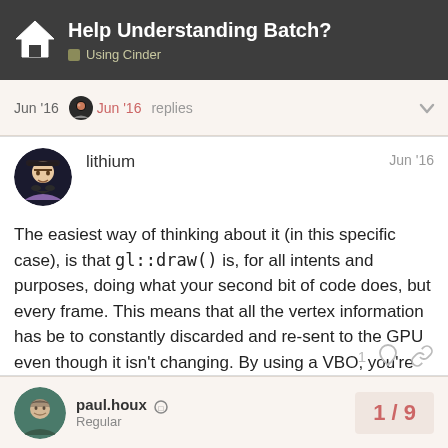Help Understanding Batch? — Using Cinder
Jun '16  Jun '16  replies
lithium  Jun '16
The easiest way of thinking about it (in this specific case), is that gl::draw() is, for all intents and purposes, doing what your second bit of code does, but every frame. This means that all the vertex information has be to constantly discarded and re-sent to the GPU even though it isn't changing. By using a VBO, you're caching the geometry on the GPU and just asking for it to be redrawn.
paul.houx  Regular  1/9